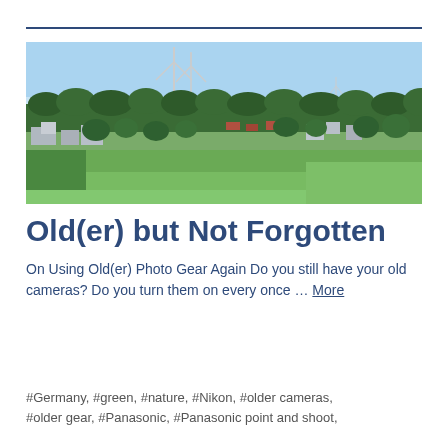[Figure (photo): Aerial/elevated landscape photo of a German town with wind turbines in the background, dense forest, buildings, and a green field in the foreground under a blue sky.]
Old(er) but Not Forgotten
On Using Old(er) Photo Gear Again Do you still have your old cameras? Do you turn them on every once … More
#Germany, #green, #nature, #Nikon, #older cameras, #older gear, #Panasonic, #Panasonic point and shoot,